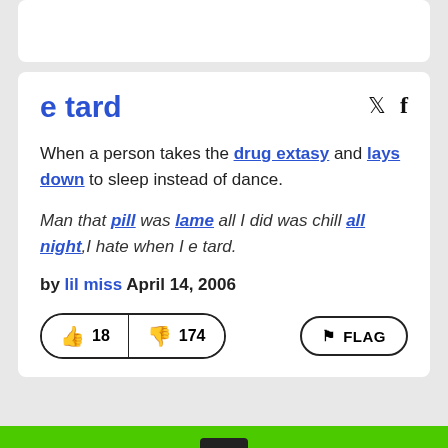e tard
When a person takes the drug extasy and lays down to sleep instead of dance.
Man that pill was lame all I did was chill all night,I hate when I e tard.
by lil miss April 14, 2006